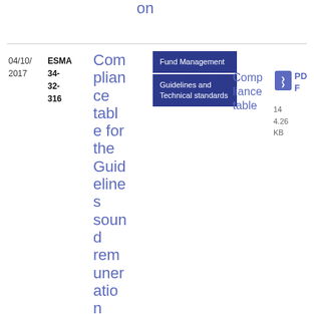on
| Date | Reference | Title | Topic | Type | Compliance | Format | Size |
| --- | --- | --- | --- | --- | --- | --- | --- |
| 04/10/2017 | ESMA 34-32-316 | Compliance table for the Guidelines sound remuneration policies under the AIF | Fund Management / Guidelines and Technical standards | Compliance table | PDF | 144.26 KB |  |
Fund Management
Guidelines and Technical standards
Compliance table
PDF
144.26 KB